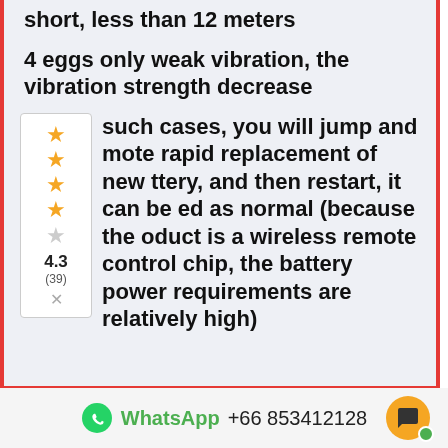short, less than 12 meters
4 eggs only weak vibration, the vibration strength decrease
[Figure (other): Rating box showing 4.3 out of 5 stars (4 filled, 1 half), 39 reviews, with an X/close button]
such cases, you will jump and mote rapid replacement of new ttery, and then restart, it can be ed as normal (because the oduct is a wireless remote control chip, the battery power requirements are relatively high)
WhatsApp +66 853412128